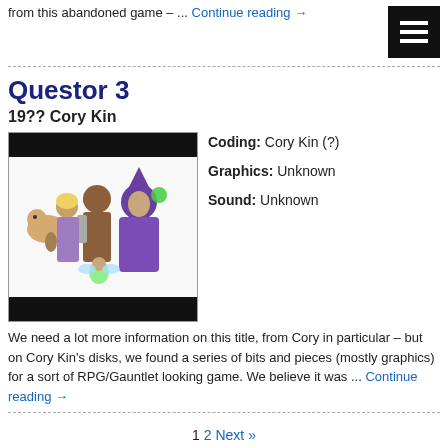from this abandoned game – ... Continue reading →
[Figure (illustration): Hamburger menu icon (three white lines on black background)]
Questor 3
19?? Cory Kin
[Figure (illustration): Game screenshot showing fantasy RPG characters including a wizard in purple robes, warrior figures, and a small fairy/sprite character on a white background with black bars at top and bottom]
Coding: Cory Kin (?)
Graphics: Unknown
Sound: Unknown
We need a lot more information on this title, from Cory in particular – but on Cory Kin's disks, we found a series of bits and pieces (mostly graphics) for a sort of RPG/Gauntlet looking game. We believe it was ... Continue reading →
1 2 Next »